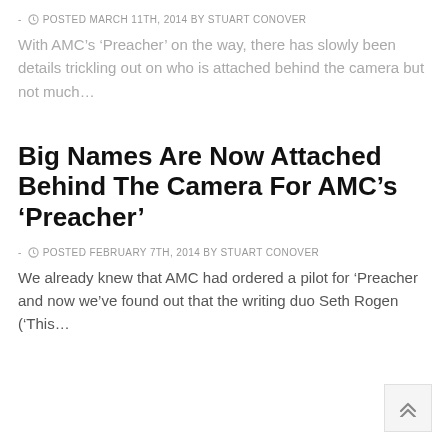- © POSTED MARCH 11TH, 2014 BY STUART CONOVER
With AMC's 'Preacher' on the way, there has slowly been details trickling out on who is attached behind the camera but not much…
Big Names Are Now Attached Behind The Camera For AMC's 'Preacher'
- © POSTED FEBRUARY 7TH, 2014 BY STUART CONOVER
We already knew that AMC had ordered a pilot for 'Preacher and now we've found out that the writing duo Seth Rogen ('This…